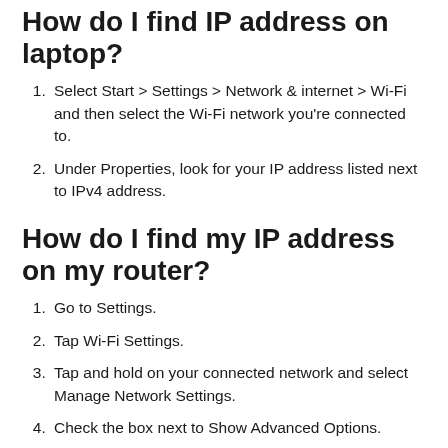How do I find IP address on laptop?
Select Start > Settings > Network & internet > Wi-Fi and then select the Wi-Fi network you're connected to.
Under Properties, look for your IP address listed next to IPv4 address.
How do I find my IP address on my router?
Go to Settings.
Tap Wi-Fi Settings.
Tap and hold on your connected network and select Manage Network Settings.
Check the box next to Show Advanced Options.